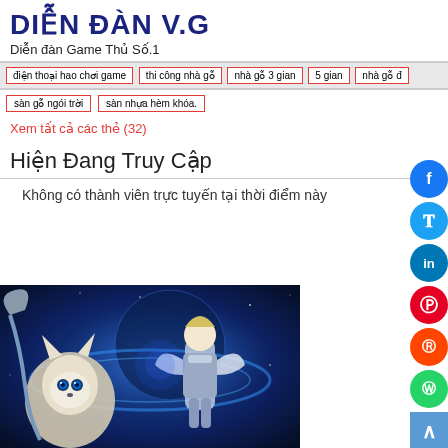DIỄN ĐÀN V.G
Diễn đàn Game Thủ Số.1
điện thoại hao chơi game : thi công nhà gỗ : nhà gỗ 3 gian : 5 gian : nhà gỗ đ
sàn gỗ ngói trời :  sàn nhựa hèm khóa.
Xem tất cả các thẻ (32)
Hiện Đang Truy Cập
Không có thành viên trực tuyến tại thời điểm này
[Figure (illustration): Mobile Legends game artwork showing a white fox creature and a female warrior character in blue/silver armor against a space/galaxy background with blue energy effects]